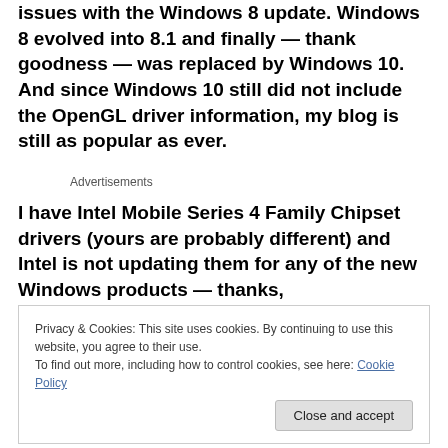issues with the Windows 8 update. Windows 8 evolved into 8.1 and finally — thank goodness — was replaced by Windows 10. And since Windows 10 still did not include the OpenGL driver information, my blog is still as popular as ever.
Advertisements
I have Intel Mobile Series 4 Family Chipset drivers (yours are probably different) and Intel is not updating them for any of the new Windows products — thanks,
Privacy & Cookies: This site uses cookies. By continuing to use this website, you agree to their use.
To find out more, including how to control cookies, see here: Cookie Policy
only know enough to be dangerous.